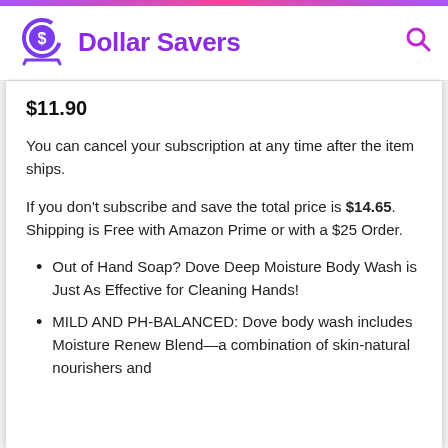Dollar Savers
$11.90
You can cancel your subscription at any time after the item ships.
If you don't subscribe and save the total price is $14.65. Shipping is Free with Amazon Prime or with a $25 Order.
Out of Hand Soap? Dove Deep Moisture Body Wash is Just As Effective for Cleaning Hands!
MILD AND PH-BALANCED: Dove body wash includes Moisture Renew Blend—a combination of skin-natural nourishers and